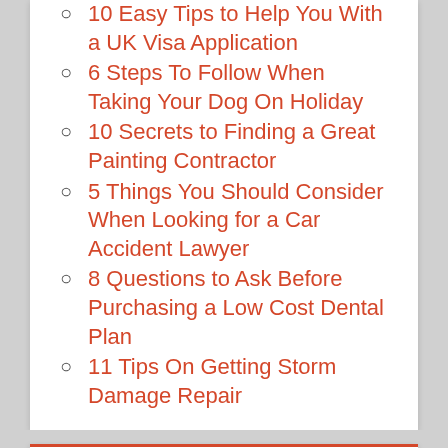10 Easy Tips to Help You With a UK Visa Application
6 Steps To Follow When Taking Your Dog On Holiday
10 Secrets to Finding a Great Painting Contractor
5 Things You Should Consider When Looking for a Car Accident Lawyer
8 Questions to Ask Before Purchasing a Low Cost Dental Plan
11 Tips On Getting Storm Damage Repair
CATEGORIES
FinTECH (1,509)